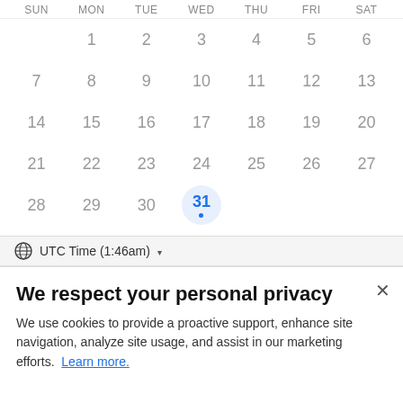[Figure (screenshot): A monthly calendar view showing days 1-31. Day 31 is highlighted with a light blue circle and bold blue text with a blue dot beneath it, indicating today's date. The calendar header shows SUN, MON, TUE, WED, THU, FRI, SAT. The numbers are in light gray. Row 1: 1-6 (Mon-Sat). Row 2: 7-13. Row 3: 14-20. Row 4: 21-27. Row 5: 28-31 (Wed=31 with today indicator).]
UTC Time (1:46am) ▾
We respect your personal privacy
We use cookies to provide a proactive support, enhance site navigation, analyze site usage, and assist in our marketing efforts. Learn more.